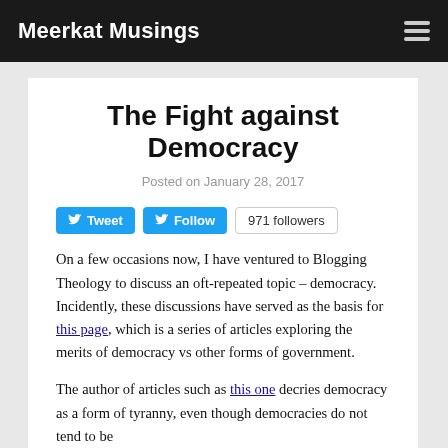Meerkat Musings
The Fight against Democracy
Posted on January 28, 2017
[Figure (other): Twitter social buttons: Tweet button, Follow button, 971 followers badge]
On a few occasions now, I have ventured to Blogging Theology to discuss an oft-repeated topic – democracy. Incidently, these discussions have served as the basis for this page, which is a series of articles exploring the merits of democracy vs other forms of government.
The author of articles such as this one decries democracy as a form of tyranny, even though democracies do not tend to be